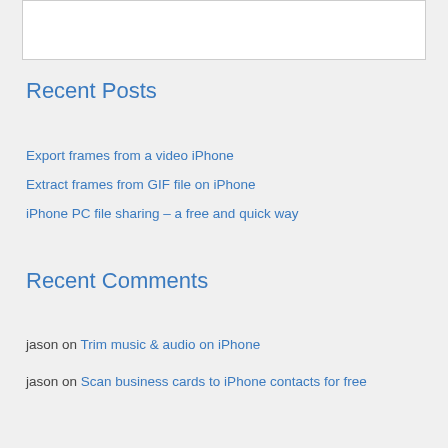[Figure (other): White rectangular box at top of page]
Recent Posts
Export frames from a video iPhone
Extract frames from GIF file on iPhone
iPhone PC file sharing – a free and quick way
Recent Comments
jason on Trim music & audio on iPhone
jason on Scan business cards to iPhone contacts for free